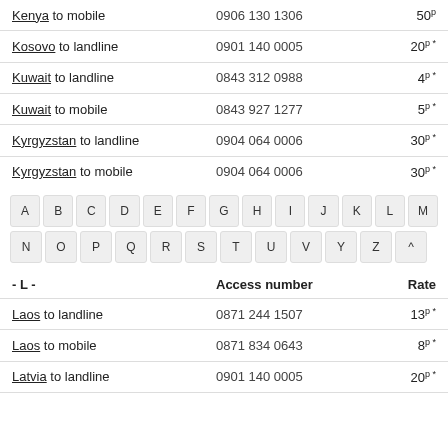Kenya to mobile  0906 130 1306  50p
Kosovo to landline  0901 140 0005  20p *
Kuwait to landline  0843 312 0988  4p *
Kuwait to mobile  0843 927 1277  5p *
Kyrgyzstan to landline  0904 064 0006  30p *
Kyrgyzstan to mobile  0904 064 0006  30p *
[Figure (infographic): Alphabetical navigation buttons A-Z and ^]
- L -  Access number  Rate
Laos to landline  0871 244 1507  13p *
Laos to mobile  0871 834 0643  8p *
Latvia to landline  0901 140 0005  20p *